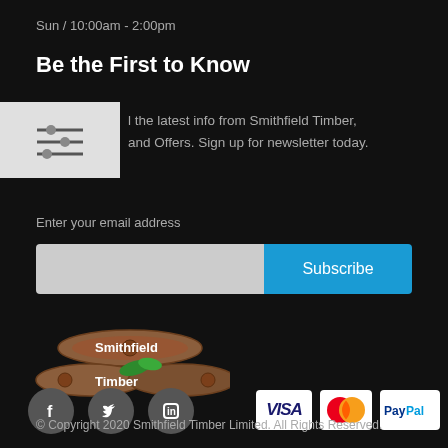Sun / 10:00am - 2:00pm
Be the First to Know
[Figure (other): Filter/settings icon shown as horizontal sliders on a light grey background]
l the latest info from Smithfield Timber, and Offers. Sign up for newsletter today.
Enter your email address
[Figure (other): Email input field with Subscribe button]
[Figure (logo): Smithfield Timber logo showing stacked logs with the company name]
[Figure (other): Social media icons: Facebook, Twitter, LinkedIn in grey circles]
[Figure (other): Payment icons: VISA, Mastercard, PayPal, Maestro]
© Copyright 2020 Smithfield Timber Limited. All Rights Reserved.